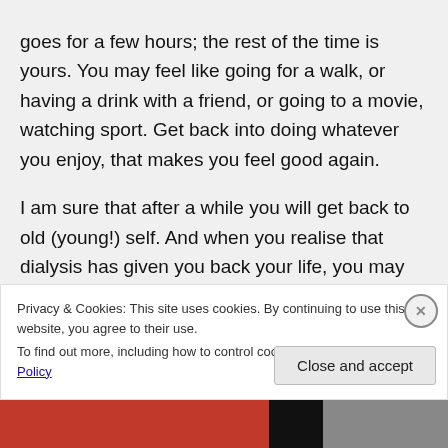goes for a few hours; the rest of the time is yours. You may feel like going for a walk, or having a drink with a friend, or going to a movie, watching sport. Get back into doing whatever you enjoy, that makes you feel good again.
I am sure that after a while you will get back to old (young!) self. And when you realise that dialysis has given you back your life, you may not begrudge the time
Privacy & Cookies: This site uses cookies. By continuing to use this website, you agree to their use.
To find out more, including how to control cookies, see here: Cookie Policy
Close and accept